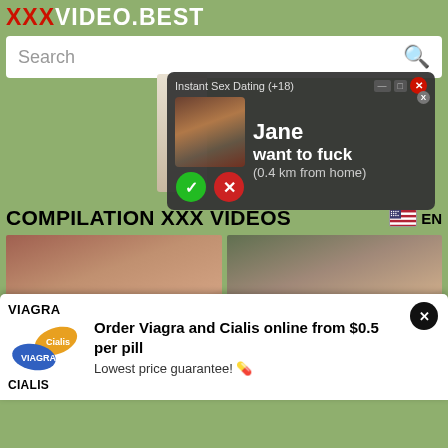XXXVIDEO.BEST
Search
[Figure (screenshot): Dating popup ad: 'Instant Sex Dating (+18)' with profile image, accept/reject buttons, and text 'Jane want to fuck (0.4 km from home)']
COMPILATION XXX VIDEOS
[Figure (photo): Adult video thumbnail - left]
[Figure (photo): Adult video thumbnail - right]
[Figure (infographic): Viagra/Cialis advertisement popup: 'Order Viagra and Cialis online from $0.5 per pill. Lowest price guarantee!']